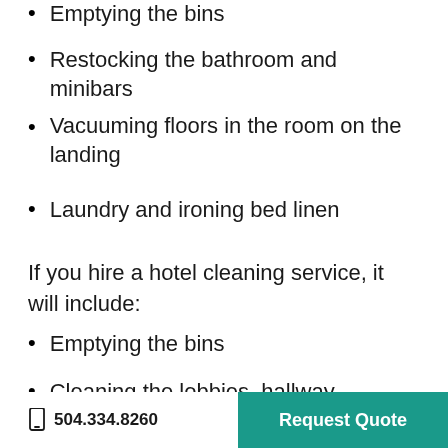Emptying the bins
Restocking the bathroom and minibars
Vacuuming floors in the room on the landing
Laundry and ironing bed linen
If you hire a hotel cleaning service, it will include:
Emptying the bins
Cleaning the lobbies, hallway, entrance,
504.334.8260   Request Quote